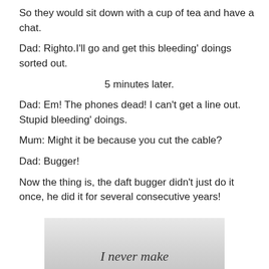So they would sit down with a cup of tea and have a chat.
Dad: Righto.I'll go and get this bleeding' doings sorted out.
5 minutes later.
Dad: Em! The phones dead! I can't get a line out. Stupid bleeding' doings.
Mum: Might it be because you cut the cable?
Dad: Bugger!
Now the thing is, the daft bugger didn't just do it once, he did it for several consecutive years!
[Figure (illustration): Partial image showing text 'I never make' on a grey background, appearing to be a meme or quote image]